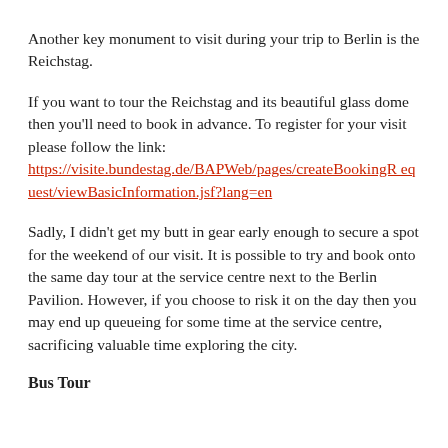Another key monument to visit during your trip to Berlin is the Reichstag.
If you want to tour the Reichstag and its beautiful glass dome then you'll need to book in advance. To register for your visit please follow the link: https://visite.bundestag.de/BAPWeb/pages/createBookingRequest/viewBasicInformation.jsf?lang=en
Sadly, I didn't get my butt in gear early enough to secure a spot for the weekend of our visit. It is possible to try and book onto the same day tour at the service centre next to the Berlin Pavilion. However, if you choose to risk it on the day then you may end up queueing for some time at the service centre, sacrificing valuable time exploring the city.
Bus Tour